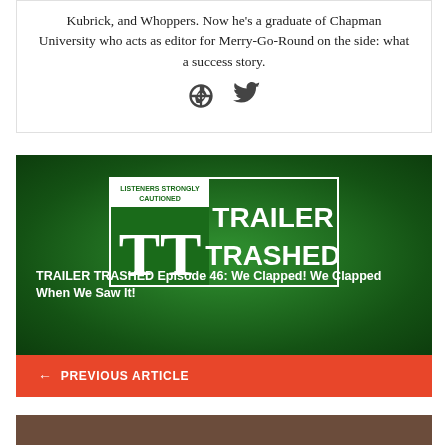Kubrick, and Whoppers. Now he's a graduate of Chapman University who acts as editor for Merry-Go-Round on the side: what a success story.
[Figure (illustration): Social media icons: globe/web icon and Twitter bird icon]
[Figure (illustration): Trailer Trashed podcast logo on green gradient background with white border box. Shows 'LISTENERS STRONGLY CAUTIONED', 'TT' monogram, 'TRAILER TRASHED' text.]
TRAILER TRASHED Episode 46: We Clapped! We Clapped When We Saw It!
← PREVIOUS ARTICLE